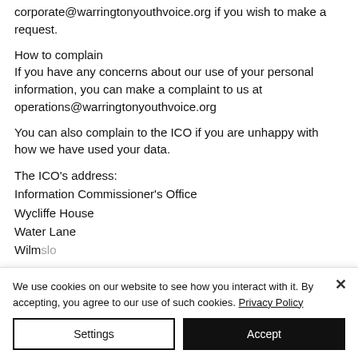Please contact us by emailing corporate@warringtonyouthvoice.org if you wish to make a request.
How to complain
If you have any concerns about our use of your personal information, you can make a complaint to us at operations@warringtonyouthvoice.org
You can also complain to the ICO if you are unhappy with how we have used your data.
The ICO's address:
Information Commissioner's Office
Wycliffe House
Water Lane
Wilmslow
We use cookies on our website to see how you interact with it. By accepting, you agree to our use of such cookies. Privacy Policy